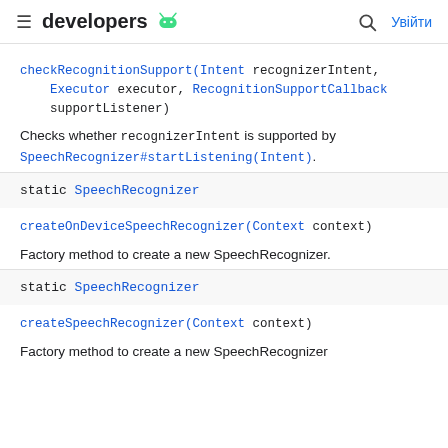developers
checkRecognitionSupport(Intent recognizerIntent, Executor executor, RecognitionSupportCallback supportListener)
Checks whether recognizerIntent is supported by SpeechRecognizer#startListening(Intent).
static SpeechRecognizer
createOnDeviceSpeechRecognizer(Context context)
Factory method to create a new SpeechRecognizer.
static SpeechRecognizer
createSpeechRecognizer(Context context)
Factory method to create a new SpeechRecognizer.